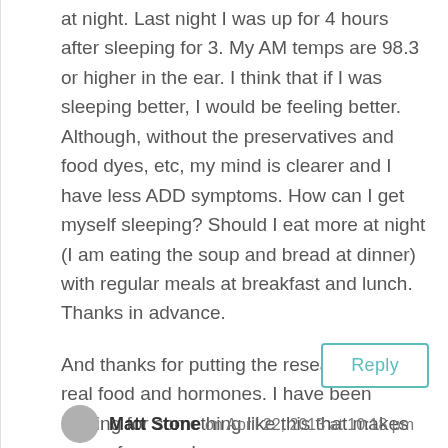at night. Last night I was up for 4 hours after sleeping for 3. My AM temps are 98.3 or higher in the ear. I think that if I was sleeping better, I would be feeling better. Although, without the preservatives and food dyes, etc, my mind is clearer and I have less ADD symptoms. How can I get myself sleeping? Should I eat more at night (I am eating the soup and bread at dinner) with regular meals at breakfast and lunch. Thanks in advance.
And thanks for putting the research into real food and hormones. I have been looking for something like this that makes sense for years!
Reply
Matt Stone on April 22, 2013 at 10:18 pm